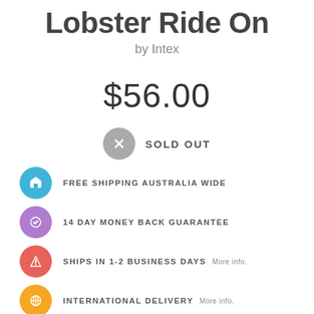Lobster Ride On
by Intex
$56.00
SOLD OUT
FREE SHIPPING AUSTRALIA WIDE
14 DAY MONEY BACK GUARANTEE
SHIPS IN 1-2 BUSINESS DAYS  More info.
INTERNATIONAL DELIVERY  More info.
Zip it now, pay later  ZIP